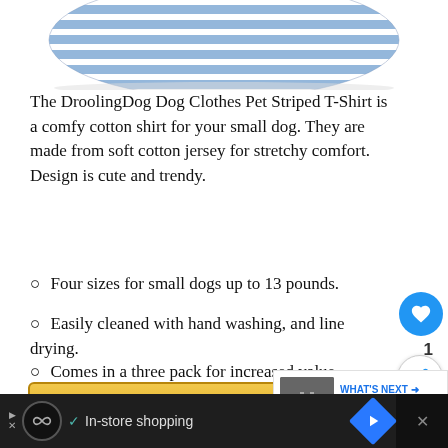[Figure (photo): Partial view of a blue and white striped dog t-shirt at the top of the page]
The DroolingDog Dog Clothes Pet Striped T-Shirt is a comfy cotton shirt for your small dog. They are made from soft cotton jersey for stretchy comfort. Design is cute and trendy.
Four sizes for small dogs up to 13 pounds.
Easily cleaned with hand washing, and line drying.
Comes in a three pack for increased value.
[Figure (screenshot): Check Price on Amazon button with golden/yellow gradient background]
[Figure (screenshot): What's Next card showing 5 Best Dog Treadmills...]
[Figure (screenshot): Advertisement bar at the bottom showing In-store shopping with icons]